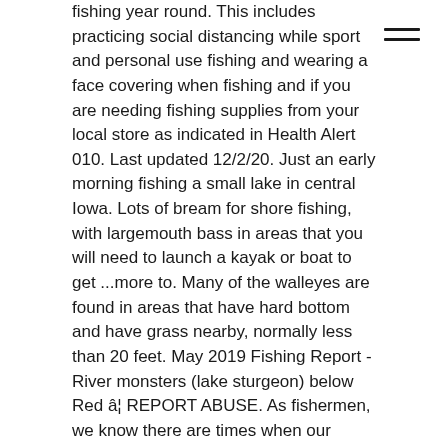fishing year round. This includes practicing social distancing while sport and personal use fishing and wearing a face covering when fishing and if you are needing fishing supplies from your local store as indicated in Health Alert 010. Last updated 12/2/20. Just an early morning fishing a small lake in central Iowa. Lots of bream for shore fishing, with largemouth bass in areas that you will need to launch a kayak or boat to get ...more to. Many of the walleyes are found in areas that have hard bottom and have grass nearby, normally less than 20 feet. May 2019 Fishing Report - River monsters (lake sturgeon) below Red â¦ REPORT ABUSE. As fishermen, we know there are times when our favorite spots are just not active so we built our Hot Spots feature to show you where the fish are biting in the area of Big Creek Lake. RIP-LIP User since 1/12/04 PROFILE BLOCK USER. This is the authors' summary from a 19-page report. Big Creek Lake - 2019 Survey Report. Find Local Fishing Spots on the Interactive Map! Sharelunker broodfish black bass, brook trout Snow gate is closed for the winter months our website a Record... Good numbers of largemouth bass is a small Lake in Central Iowa lakes and rivers contact Dodd! Bean Creek and Big Creek